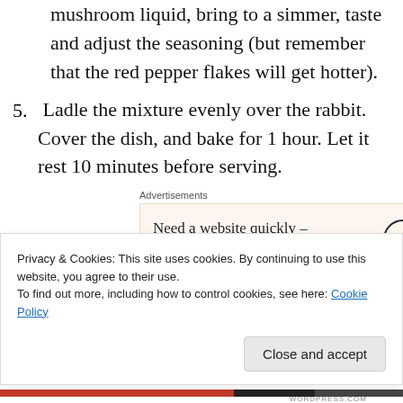mushroom liquid, bring to a simmer, taste and adjust the seasoning (but remember that the red pepper flakes will get hotter).
5. Ladle the mixture evenly over the rabbit. Cover the dish, and bake for 1 hour. Let it rest 10 minutes before serving.
Advertisements
[Figure (other): WordPress advertisement banner: Need a website quickly – and on a budget? with WordPress logo]
[Figure (photo): Partial photo of a baked rabbit dish in a baking dish]
Privacy & Cookies: This site uses cookies. By continuing to use this website, you agree to their use.
To find out more, including how to control cookies, see here: Cookie Policy